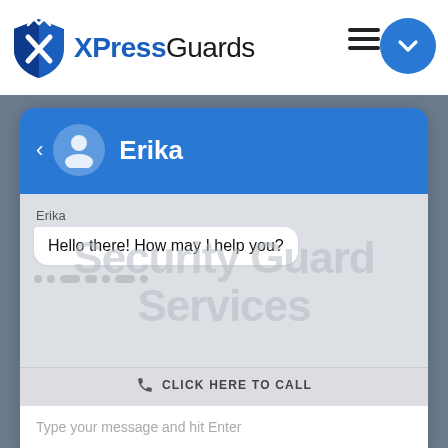[Figure (logo): XPressGuards logo with shield icon in blue and black, and hamburger menu icon with blue circular button]
[Figure (screenshot): Chat widget interface with blue header showing agent name Erika with avatar, chat body showing Security Guard Services watermark, Erika sender label, message bubble saying Hello there! How may I help you?, a call bar, and a type your message input bar]